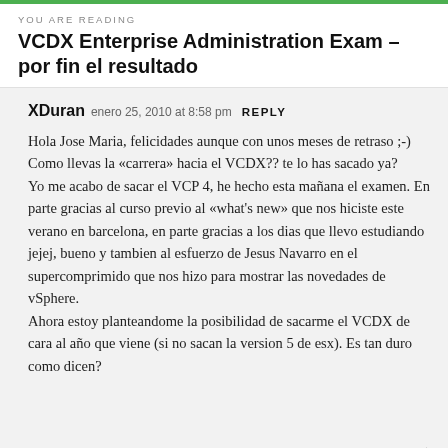YOU ARE READING
VCDX Enterprise Administration Exam – por fin el resultado
XDuran  enero 25, 2010 at 8:58 pm  REPLY
Hola Jose Maria, felicidades aunque con unos meses de retraso ;-)
Como llevas la «carrera» hacia el VCDX?? te lo has sacado ya?
Yo me acabo de sacar el VCP 4, he hecho esta mañana el examen. En parte gracias al curso previo al «what's new» que nos hiciste este verano en barcelona, en parte gracias a los dias que llevo estudiando jejej, bueno y tambien al esfuerzo de Jesus Navarro en el supercomprimido que nos hizo para mostrar las novedades de vSphere.
Ahora estoy planteandome la posibilidad de sacarme el VCDX de cara al año que viene (si no sacan la version 5 de esx). Es tan duro como dicen?